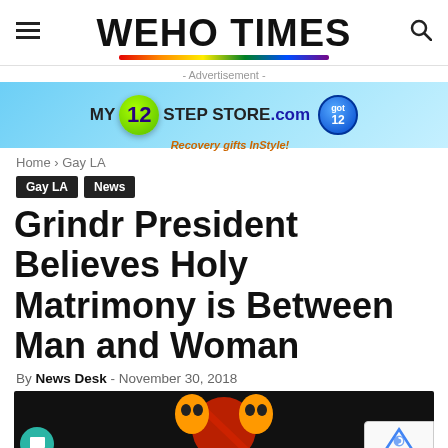WEHO TIMES
[Figure (infographic): Advertisement banner for My12StepStore.com - Recovery gifts InStyle! with colorful logo on blue gradient background]
- Advertisement -
Home › Gay LA
Gay LA   News
Grindr President Believes Holy Matrimony is Between Man and Woman
By News Desk - November 30, 2018
[Figure (photo): Grindr logo imagery with orange alien-like figures and red circle with prohibition symbol on black background]